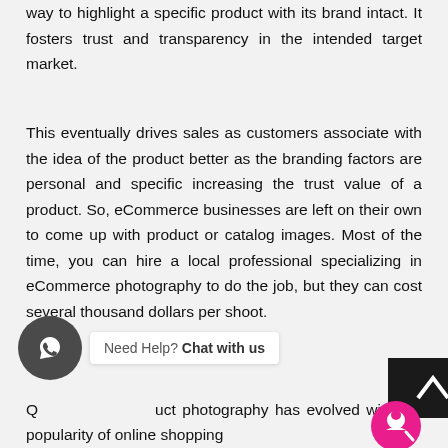way to highlight a specific product with its brand intact. It fosters trust and transparency in the intended target market.
This eventually drives sales as customers associate with the idea of the product better as the branding factors are personal and specific increasing the trust value of a product. So, eCommerce businesses are left on their own to come up with product or catalog images. Most of the time, you can hire a local professional specializing in eCommerce photography to do the job, but they can cost several thousand dollars per shoot.
Q... product photography has evolved with the popularity of online shopping